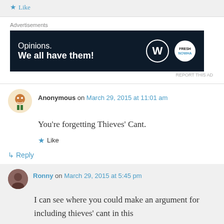Like
Advertisements
[Figure (screenshot): WordPress advertisement banner: 'Opinions. We all have them!' with WordPress and FrontPage logos on dark navy background]
REPORT THIS AD
Anonymous on March 29, 2015 at 11:01 am
You're forgetting Thieves' Cant.
Like
Reply
Ronny on March 29, 2015 at 5:45 pm
I can see where you could make an argument for including thieves' cant in this